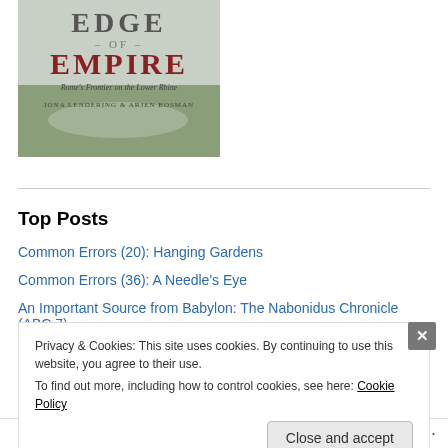[Figure (illustration): Book cover for 'Edge of Empire: Rome's Frontier on the Lower Rhine' by Jona Lendering & Arjen Bosman. Shows the title in large text with a landscape image of a river or estuary.]
Top Posts
Common Errors (20): Hanging Gardens
Common Errors (36): A Needle's Eye
An Important Source from Babylon: The Nabonidus Chronicle (ABC 7)
Privacy & Cookies: This site uses cookies. By continuing to use this website, you agree to their use. To find out more, including how to control cookies, see here: Cookie Policy
Close and accept
Follow